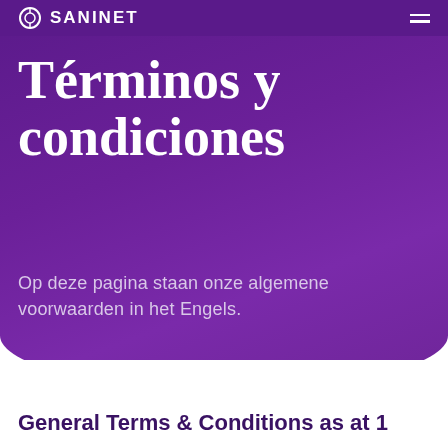SANINET
Términos y condiciones
Op deze pagina staan onze algemene voorwaarden in het Engels.
General Terms & Conditions as at 1